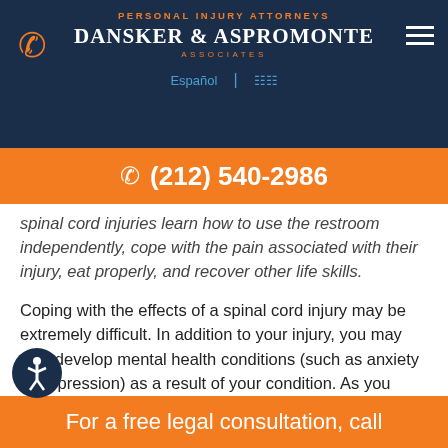PERSONAL INJURY ATTORNEYS
DANSKER & ASPROMONTE ASSOCIATES
Español
[Figure (other): Orange phone call banner with phone number (212) 540-2986]
spinal cord injuries learn how to use the restroom independently, cope with the pain associated with their injury, eat properly, and recover other life skills.
Coping with the effects of a spinal cord injury may be extremely difficult. In addition to your injury, you may also develop mental health conditions (such as anxiety or depression) as a result of your condition. As you learn to adapt to a new quality of life, a lawyer can assist you in several ways.
For a free legal consultation, call